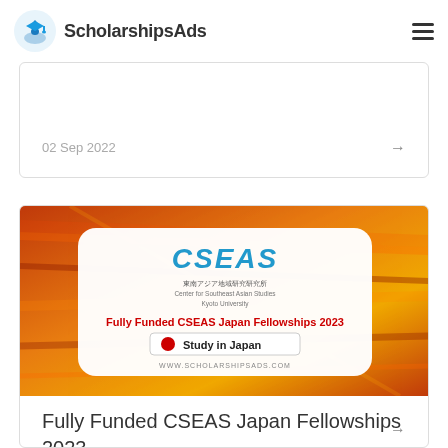ScholarshipsAds
02 Sep 2022
[Figure (photo): Promotional image for Fully Funded CSEAS Japan Fellowships 2023 with red/orange abstract background. White rounded rectangle overlay containing CSEAS logo (text: CSEAS, 東南アジア地域研究研究所, Center for Southeast Asian Studies, Kyoto University), red bold text 'Fully Funded CSEAS Japan Fellowships 2023', Japanese flag emoji, bold text 'Study in Japan', and website URL www.scholarshipsads.com]
Fully Funded CSEAS Japan Fellowships 2023
02 Sep 2022